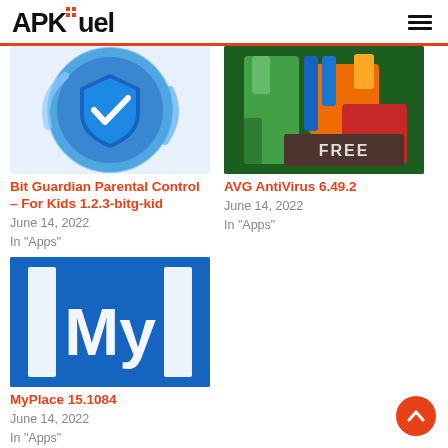APKFuel
[Figure (screenshot): Bit Guardian Parental Control app icon - blue shield with checkmark on circular background]
Bit Guardian Parental Control – For Kids 1.2.3-bitg-kid
June 14, 2022
In "Apps"
[Figure (screenshot): AVG AntiVirus app logo with colorful hands/shield and FREE label]
AVG AntiVirus 6.49.2
June 14, 2022
In "Apps"
[Figure (screenshot): MyPlace app icon - blue background with 'My' text in white]
MyPlace 15.1084
June 14, 2022
In "Apps"